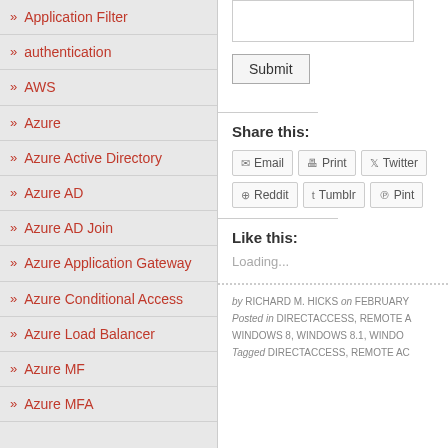» Application Filter
» authentication
» AWS
» Azure
» Azure Active Directory
» Azure AD
» Azure AD Join
» Azure Application Gateway
» Azure Conditional Access
» Azure Load Balancer
» Azure MF
» Azure MFA
[Figure (screenshot): Input box and Submit button on right column]
Share this:
Email  Print  Twitter
Reddit  Tumblr  Pint...
Like this:
Loading...
by RICHARD M. HICKS on FEBRUARY...
Posted in DIRECTACCESS, REMOTE A... WINDOWS 8, WINDOWS 8.1, WINDO...
Tagged DIRECTACCESS, REMOTE AC...